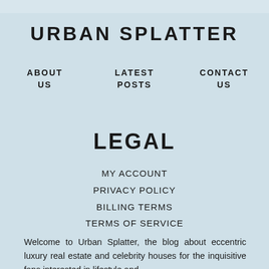URBAN SPLATTER
ABOUT US
LATEST POSTS
CONTACT US
LEGAL
MY ACCOUNT
PRIVACY POLICY
BILLING TERMS
TERMS OF SERVICE
Welcome to Urban Splatter, the blog about eccentric luxury real estate and celebrity houses for the inquisitive fans interested in lifestyle and